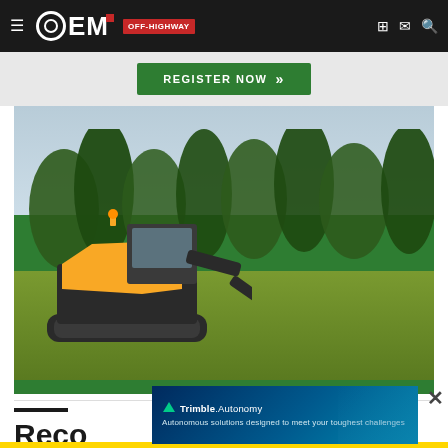OEM OFF-HIGHWAY
[Figure (photo): Green register now button banner at top of page]
[Figure (photo): Yellow and black compact mini excavator on a grassy hillside with trees in background, green bar at bottom]
Reco
[Figure (infographic): Trimble Autonomy advertisement overlay: Autonomous solutions designed to meet your toughest challenges]